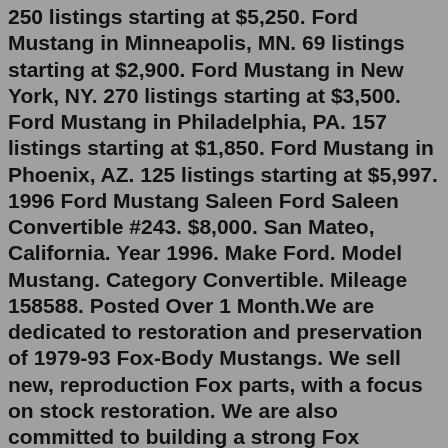250 listings starting at $5,250. Ford Mustang in Minneapolis, MN. 69 listings starting at $2,900. Ford Mustang in New York, NY. 270 listings starting at $3,500. Ford Mustang in Philadelphia, PA. 157 listings starting at $1,850. Ford Mustang in Phoenix, AZ. 125 listings starting at $5,997. 1996 Ford Mustang Saleen Ford Saleen Convertible #243. $8,000. San Mateo, California. Year 1996. Make Ford. Model Mustang. Category Convertible. Mileage 158588. Posted Over 1 Month.We are dedicated to restoration and preservation of 1979-93 Fox-Body Mustangs. We sell new, reproduction Fox parts, with a focus on stock restoration. We are also committed to building a strong Fox community through our all-Fox shows, Foxtoberfest and The Chocolate Fox. Follow us on social media to stay up to date! Building and property for sale. Grenola, KS. $90,000. 3 bedroom 2 bathroom home located in great neighborhood. Chanute, KS. $4,000. Property for sale house needs torn down move a nice building in there 614 Penn St coffeyville ks. Coffeyville, KS. $78,000.. 1993 Ford